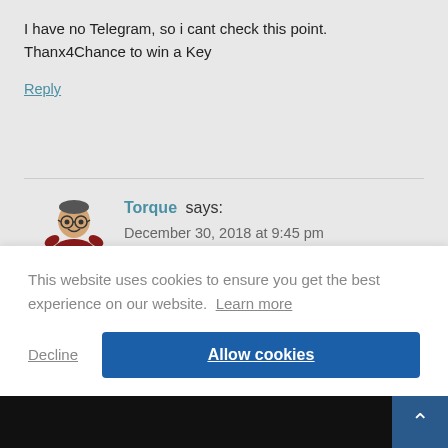I have no Telegram, so i cant check this point.
Thanx4Chance to win a Key
Reply
Torque says:
December 30, 2018 at 9:45 pm
[Figure (illustration): Avatar image of user Torque showing a cartoon-style person with glasses and red shirt with 'Torque' text below]
This website uses cookies to ensure you get the best experience on our website. Learn more
Decline
Allow cookies